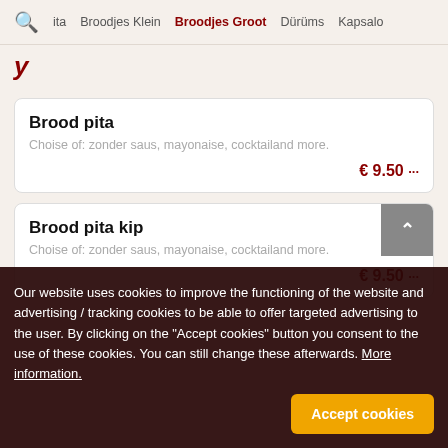ita  Broodjes Klein  Broodjes Groot  Dürüms  Kapsalo
y
Brood pita
Choise of: zonder saus, mayonaise, cocktailand more.
€ 9.50 ···
Brood pita kip
Choise of: zonder saus, mayonaise, cocktailand more.
€ 9.50 ···
Our website uses cookies to improve the functioning of the website and advertising / tracking cookies to be able to offer targeted advertising to the user. By clicking on the "Accept cookies" button you consent to the use of these cookies. You can still change these afterwards. More information.